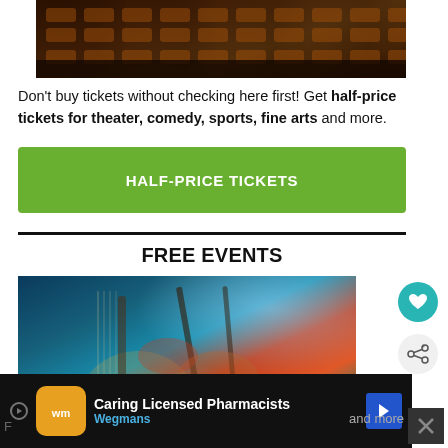[Figure (photo): Theater seats with warm golden-brown lighting, viewed from above]
Don't buy tickets without checking here first! Get half-price tickets for theater, comedy, sports, fine arts and more.
HALF-PRICE TICKETS
FREE EVENTS
[Figure (photo): Musicians playing banjo and guitars on stage with colorful stage lighting]
WHAT'S NEXT → Free and Cheap Event...
[Figure (infographic): Advertisement bar: Caring Licensed Pharmacists - Wegmans]